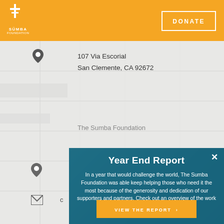[Figure (logo): The Sumba Foundation logo with white flame/building icon and text on orange background]
DONATE
107 Via Escorial
San Clemente, CA 92672
[Figure (map): Google map background showing street map]
The Sumba Foundation
Year End Report
In a year that would challenge the world, The Sumba Foundation was able keep helping those who need it the most because of the generosity and dedication of our supporters and partners. Check out an overview of the work we accomplished in 2020.
VIEW THE REPORT ›